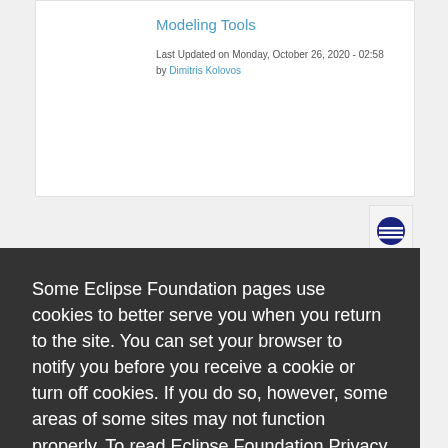Modeling Tools
Last Updated on Monday, October 26, 2020 - 02:58 by Dimitris Kolovos
[Figure (logo): Eclipse Foundation logo badge — dark blue circle with horizontal white stripes]
Some Eclipse Foundation pages use cookies to better serve you when you return to the site. You can set your browser to notify you before you receive a cookie or turn off cookies. If you do so, however, some areas of some sites may not function properly. To read Eclipse Foundation Privacy Policy click here.
Decline
Allow cookies
10:12 by Ted Epstein